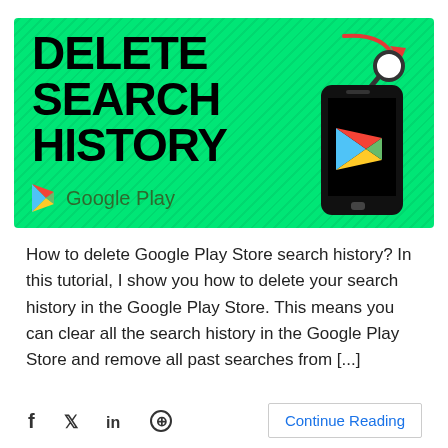[Figure (infographic): Green diagonal-striped banner with bold black text reading DELETE SEARCH HISTORY, Google Play logo and text bottom-left, smartphone illustration with search icon and red arrow on right]
How to delete Google Play Store search history? In this tutorial, I show you how to delete your search history in the Google Play Store. This means you can clear all the search history in the Google Play Store and remove all past searches from [...]